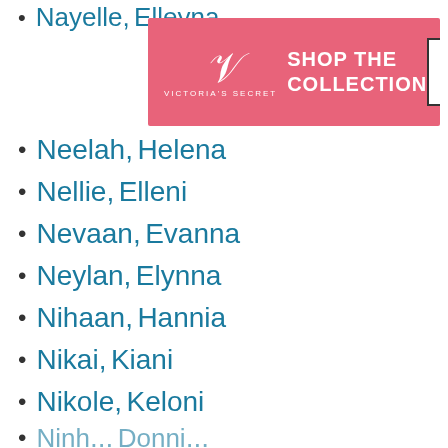Nayelle, Elleyna
[Figure (photo): Victoria's Secret advertisement banner - SHOP THE COLLECTION SHOP NOW]
Neelah, Helena
Nellie, Elleni
Nevaan, Evanna
Neylan, Elynna
Nihaan, Hannia
Nikai, Kiani
Nikole, Keloni
Ninh... Donni... (partial, cut off)
We use cookies on our website to give you the most relevant experience by remembering your preferences and repeat visits. By clicking “Accept”, you consent to the use of ALL the cookies.
Do not sell my personal information.
[Figure (photo): Victoria's Secret advertisement banner at bottom - SHOP THE COLLECTION SHOP NOW]